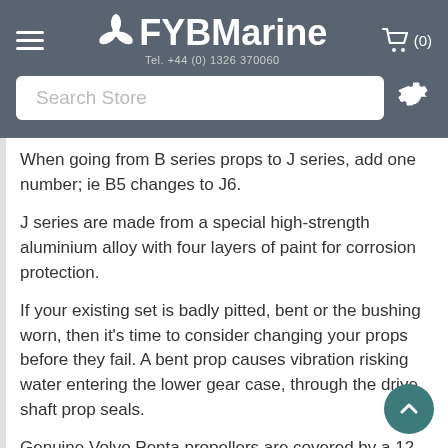FYBMarine Tel. +44 (0) 1326 370060
When going from B series props to J series, add one number; ie B5 changes to J6.
J series are made from a special high-strength aluminium alloy with four layers of paint for corrosion protection.
If your existing set is badly pitted, bent or the bushing worn, then it's time to consider changing your props before they fail. A bent prop causes vibration risking water entering the lower gear case, through the drive shaft prop seals.
Genuine Volvo Penta propellers are covered by a 12 month warranty. Have them fitted by us or another authorised dealer, and we'll extend your warranty to 24